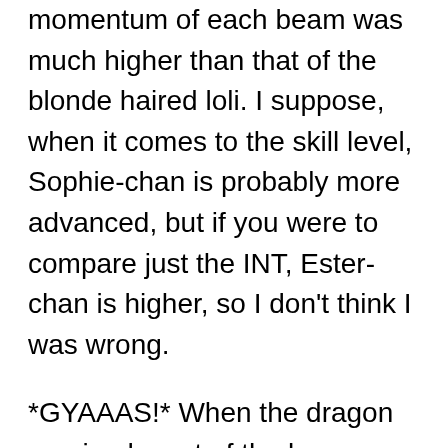momentum of each beam was much higher than that of the blonde haired loli. I suppose, when it comes to the skill level, Sophie-chan is probably more advanced, but if you were to compare just the INT, Ester-chan is higher, so I don't think I was wrong.
*GYAAAS!* When the dragon received most of the beams that had been fired, he let out a roar once again.
This scene made me feel as if I was watching a Godzilla movie.
*Glance* The opponent directed his attention to Sophie-chan.